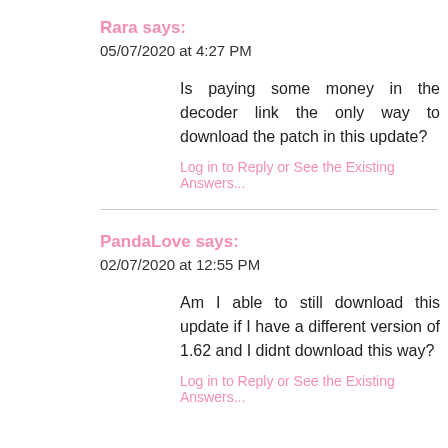Rara says:
05/07/2020 at 4:27 PM
Is paying some money in the decoder link the only way to download the patch in this update?
Log in to Reply or See the Existing Answers...
PandaLove says:
02/07/2020 at 12:55 PM
Am I able to still download this update if I have a different version of 1.62 and I didnt download this way?
Log in to Reply or See the Existing Answers...